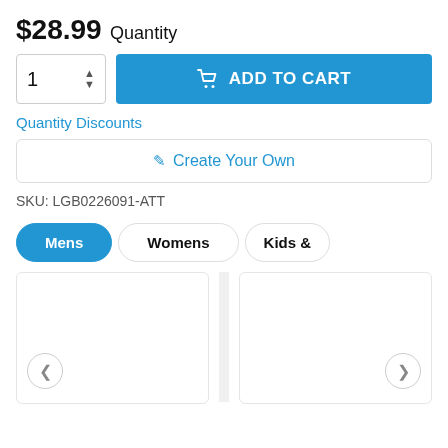$28.99 Quantity
ADD TO CART
Quantity Discounts
✏ Create Your Own
SKU: LGB0226091-ATT
Mens
Womens
Kids &
[Figure (other): Two blank product image cards with navigation arrows (left and right)]